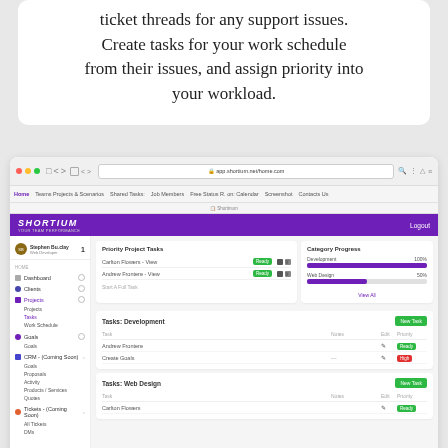ticket threads for any support issues. Create tasks for your work schedule from their issues, and assign priority into your workload.
[Figure (screenshot): Screenshot of a web application called Shortium showing a dashboard with Priority Project Tasks section listing 'Carlton Flowers - View' and 'Andrew Frontere - View', a Category Progress section showing Development at 100% and Web Design at 50%, a Tasks: Development section with Andrew Frontere and Create Goals rows, and a Tasks: Web Design section with Carlton Flowers row. The app has a purple header with Shortium logo and a sidebar navigation with Dashboard, Clients, Projects, Goals, CRM (Coming Soon), and Tickets (Coming Soon) sections.]